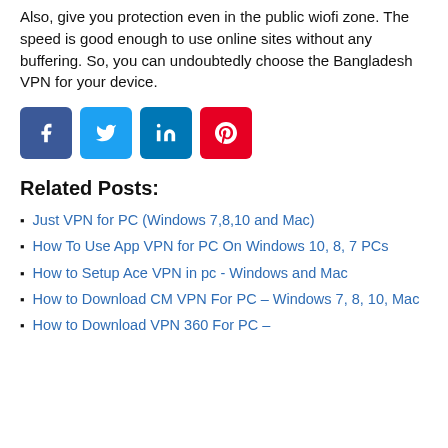Also, give you protection even in the public wiofi zone. The speed is good enough to use online sites without any buffering. So, you can undoubtedly choose the Bangladesh VPN for your device.
[Figure (infographic): Social share buttons: Facebook (blue), Twitter (light blue), LinkedIn (dark blue), Pinterest (red)]
Related Posts:
Just VPN for PC (Windows 7,8,10 and Mac)
How To Use App VPN for PC On Windows 10, 8, 7 PCs
How to Setup Ace VPN in pc - Windows and Mac
How to Download CM VPN For PC – Windows 7, 8, 10, Mac
How to Download VPN 360 For PC –